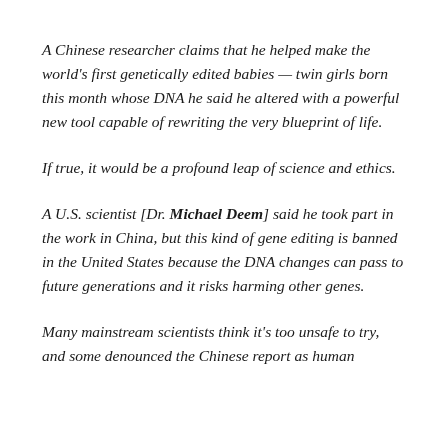A Chinese researcher claims that he helped make the world's first genetically edited babies — twin girls born this month whose DNA he said he altered with a powerful new tool capable of rewriting the very blueprint of life.
If true, it would be a profound leap of science and ethics.
A U.S. scientist [Dr. Michael Deem] said he took part in the work in China, but this kind of gene editing is banned in the United States because the DNA changes can pass to future generations and it risks harming other genes.
Many mainstream scientists think it's too unsafe to try, and some denounced the Chinese report as human